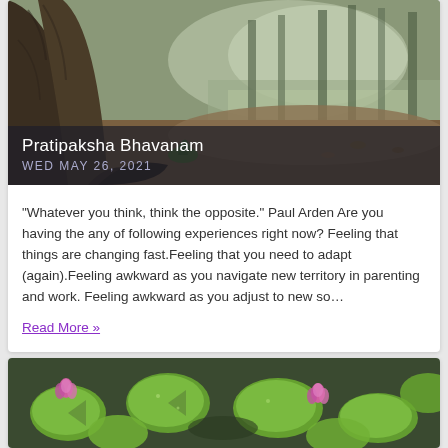[Figure (photo): Forest scene with large tree trunk in foreground, trees and water in background, autumn leaves on ground]
Pratipaksha Bhavanam
WED MAY 26, 2021
"Whatever you think, think the opposite." Paul Arden Are you having the any of following experiences right now? Feeling that things are changing fast.Feeling that you need to adapt (again).Feeling awkward as you navigate new territory in parenting and work. Feeling awkward as you adjust to new so…
Read More »
[Figure (photo): Water lily pads with pink lotus flowers on a pond, viewed from above]